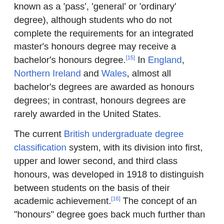known as a 'pass', 'general' or 'ordinary' degree), although students who do not complete the requirements for an integrated master's honours degree may receive a bachelor's honours degree.[15] In England, Northern Ireland and Wales, almost all bachelor's degrees are awarded as honours degrees; in contrast, honours degrees are rarely awarded in the United States.
The current British undergraduate degree classification system, with its division into first, upper and lower second, and third class honours, was developed in 1918 to distinguish between students on the basis of their academic achievement.[16] The concept of an "honours" degree goes back much further than this, however, as there were examinations for honours in the original regulations of the University of London in 1839,[17] and Nevil Maskelyne being recorded as taking a bachelor's degree with honours at Cambridge in 1754.[18] Other